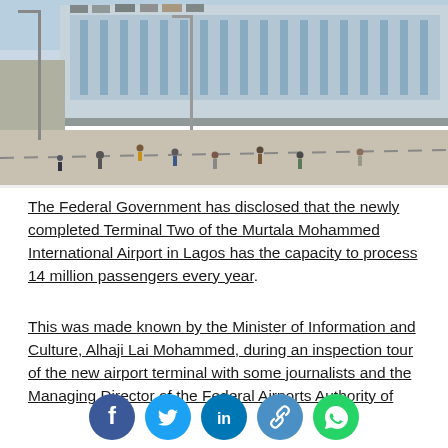[Figure (photo): Exterior view of Terminal Two of the Murtala Mohammed International Airport in Lagos, showing the terminal building with glass facade, a wide road/apron area in the foreground with people walking, parked cars on the upper level, and streetlights.]
The Federal Government has disclosed that the newly completed Terminal Two of the Murtala Mohammed International Airport in Lagos has the capacity to process 14 million passengers every year.
This was made known by the Minister of Information and Culture, Alhaji Lai Mohammed, during an inspection tour of the new airport terminal with some journalists and the Managing Director of the Federal Airports Authority of